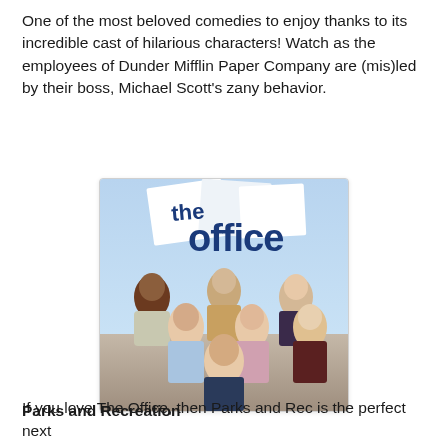One of the most beloved comedies to enjoy thanks to its incredible cast of hilarious characters! Watch as the employees of Dunder Mifflin Paper Company are (mis)led by their boss, Michael Scott's zany behavior.
[Figure (photo): Promotional poster for 'The Office' TV show featuring the cast members posing together with the show's logo at the top.]
Parks and Recreation
If you love The Office, then Parks and Rec is the perfect next